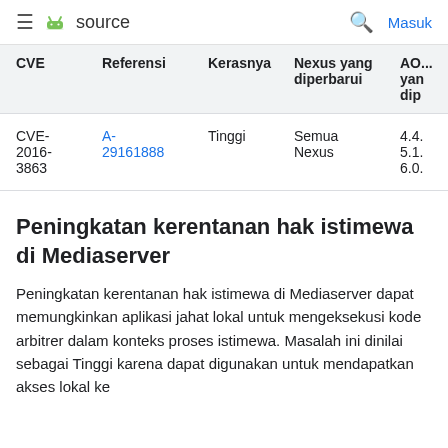≡ source  🔍 Masuk
| CVE | Referensi | Kerasnya | Nexus yang diperbarui | AO... yan... dip... |
| --- | --- | --- | --- | --- |
| CVE-2016-3863 | A-29161888 | Tinggi | Semua Nexus | 4.4. 5.1. 6.0. |
Peningkatan kerentanan hak istimewa di Mediaserver
Peningkatan kerentanan hak istimewa di Mediaserver dapat memungkinkan aplikasi jahat lokal untuk mengeksekusi kode arbitrer dalam konteks proses istimewa. Masalah ini dinilai sebagai Tinggi karena dapat digunakan untuk mendapatkan akses lokal ke